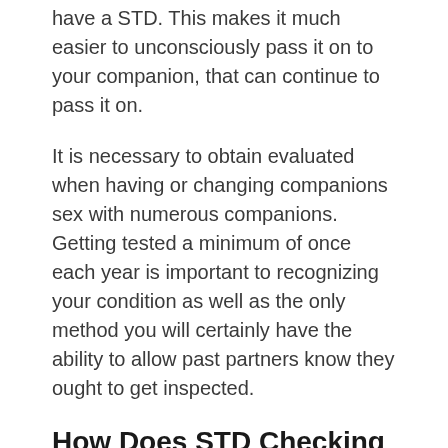have a STD. This makes it much easier to unconsciously pass it on to your companion, that can continue to pass it on.
It is necessary to obtain evaluated when having or changing companions sex with numerous companions. Getting tested a minimum of once each year is important to recognizing your condition as well as the only method you will certainly have the ability to allow past partners know they ought to get inspected.
How Does STD Checking Work?
STD testing can be quick, pain-free, and fuss-free. Sexually Transmitted Disease assessing isn't normally consisted of in normal medical examinations you need to ask for it. Learn more